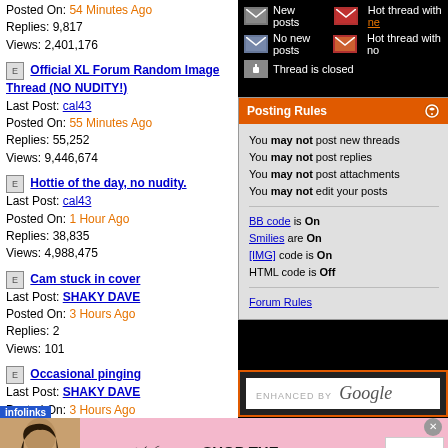Posted On: 54 Minutes Ago
Replies: 9,817
Views: 2,401,176
Official XL Forum Random Image Thread (NO NUDITY!)
Last Post: cal43
Posted On: 55 Minutes Ago
Replies: 55,252
Views: 9,446,674
Hottie of the day, no nudity.
Last Post: cal43
Posted On: 1 Hour Ago
Replies: 38,835
Views: 4,988,475
Cam stuck in cover
Last Post: SHAKY DAVE
Posted On: 3 Hours Ago
Replies: 2
Views: 101
Occasional pinging
Last Post: SHAKY DAVE
Posted On: 3 Hours Ago
Replies: 7
Views: 280
New posts
Hot thread with new
No new posts
Hot thread with no
Thread is closed
Posting Rules
You may not post new threads
You may not post replies
You may not post attachments
You may not edit your posts
BB code is On
Smilies are On
[IMG] code is On
HTML code is Off
Forum Rules
ENHANCED BY Google
[Figure (photo): Victoria's Secret advertisement banner with model, logo, SHOP THE COLLECTION text, and SHOP NOW button]